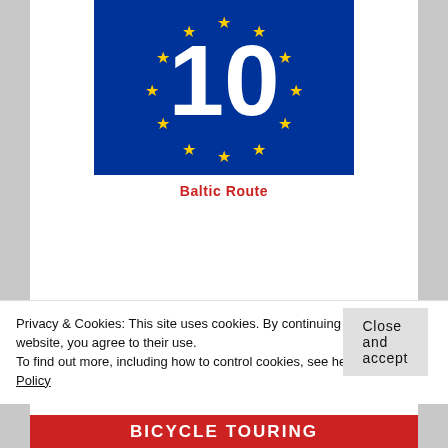[Figure (illustration): EU-style blue sign with number 10 in white and circle of yellow stars — Baltic Route cycling route marker]
Baltic Route
[Figure (illustration): Partial view of a bicycle touring logo/image with an arch shape at the top]
Privacy & Cookies: This site uses cookies. By continuing to use this website, you agree to their use.
To find out more, including how to control cookies, see here: Cookie Policy
Close and accept
BICYCLE TOURING